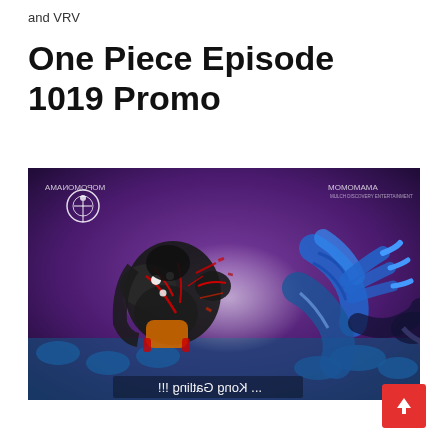and VRV
One Piece Episode 1019 Promo
[Figure (screenshot): Anime screenshot from One Piece Episode 1019 promo showing two characters fighting — Luffy in Gear Fourth with dark rubbery body and red lines facing a blue scaled creature/character, on a purple and blue background. Subtitle text visible: '... Kong Gatling !!!' (mirrored). Top right watermark: 'MOMOMAMA'. Top left: Toei Animation logo circle.]
[Figure (other): Red scroll-to-top button with white upward arrow in bottom right corner.]